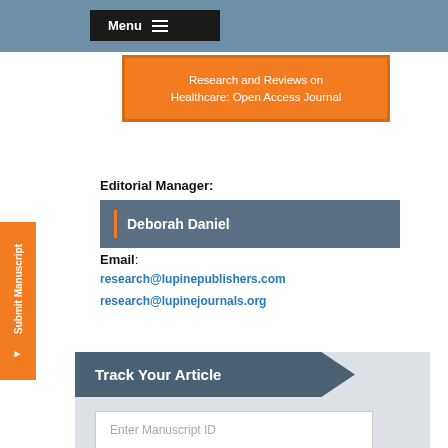Menu
Research and Reviews on Healthcare: Open Access Journal
Editorial Manager:
Deborah Daniel
Email:
research@lupinepublishers.com
research@lupinejournals.org
Track Your Article
Enter Manuscript ID